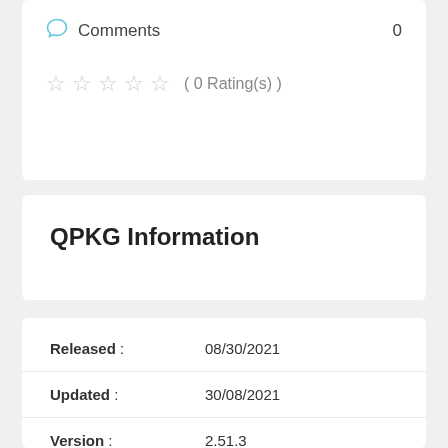Comments  0
☆ ☆ ☆ ☆ ☆ ( 0 Rating(s) )
QPKG Information
Released : 08/30/2021
Updated : 30/08/2021
Version : 2.51.3
Category : Backup/Sync
Dependencies : MUSL_CROSS